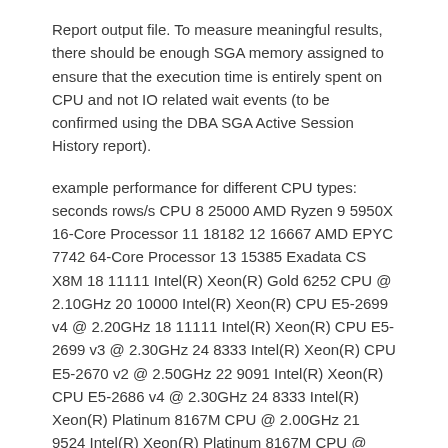Report output file. To measure meaningful results, there should be enough SGA memory assigned to ensure that the execution time is entirely spent on CPU and not IO related wait events (to be confirmed using the DBA SGA Active Session History report).
example performance for different CPU types: seconds rows/s CPU 8 25000 AMD Ryzen 9 5950X 16-Core Processor 11 18182 12 16667 AMD EPYC 7742 64-Core Processor 13 15385 Exadata CS X8M 18 11111 Intel(R) Xeon(R) Gold 6252 CPU @ 2.10GHz 20 10000 Intel(R) Xeon(R) CPU E5-2699 v4 @ 2.20GHz 18 11111 Intel(R) Xeon(R) CPU E5-2699 v3 @ 2.30GHz 24 8333 Intel(R) Xeon(R) CPU E5-2670 v2 @ 2.50GHz 22 9091 Intel(R) Xeon(R) CPU E5-2686 v4 @ 2.30GHz 24 8333 Intel(R) Xeon(R) Platinum 8167M CPU @ 2.00GHz 21 9524 Intel(R) Xeon(R) Platinum 8167M CPU @ 2.00GHz 65 3077 SPARC-T5, chipid 1, clock 3600 MHz
Categories:
Enginatics, Kcapps